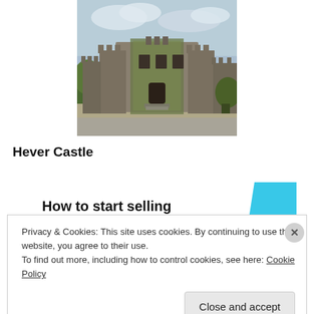[Figure (photo): Photograph of Hever Castle, a medieval stone castle with ivy-covered walls, crenellated towers, and cloudy sky background]
Hever Castle
[Figure (infographic): Advertisement banner: 'How to start selling subscriptions online' with a cyan geometric shape on the right]
Privacy & Cookies: This site uses cookies. By continuing to use this website, you agree to their use.
To find out more, including how to control cookies, see here: Cookie Policy
Close and accept